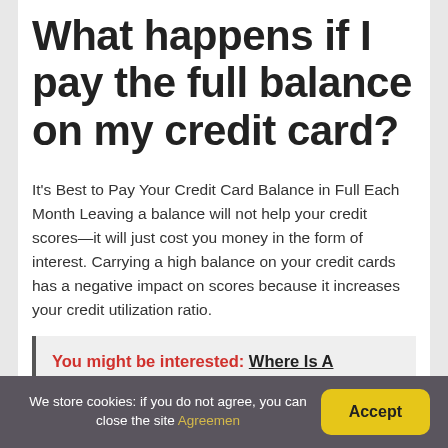What happens if I pay the full balance on my credit card?
It's Best to Pay Your Credit Card Balance in Full Each Month Leaving a balance will not help your credit scores—it will just cost you money in the form of interest. Carrying a high balance on your credit cards has a negative impact on scores because it increases your credit utilization ratio.
You might be interested: Where Is A Security Code On A Credit Card?
We store cookies: if you do not agree, you can close the site Agreemen